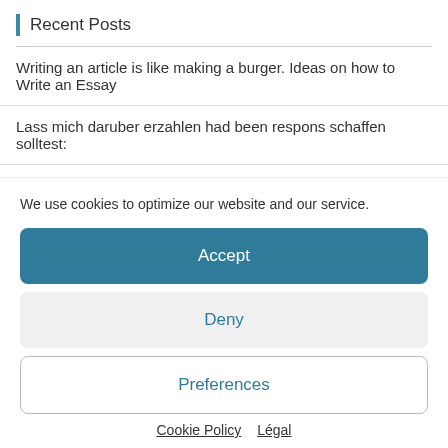Recent Posts
Writing an article is like making a burger. Ideas on how to Write an Essay
Lass mich daruber erzahlen had been respons schaffen solltest:
Mention the like plus opinions, and show your cardio
We use cookies to optimize our website and our service.
Accept
Deny
Preferences
Cookie Policy  Légal